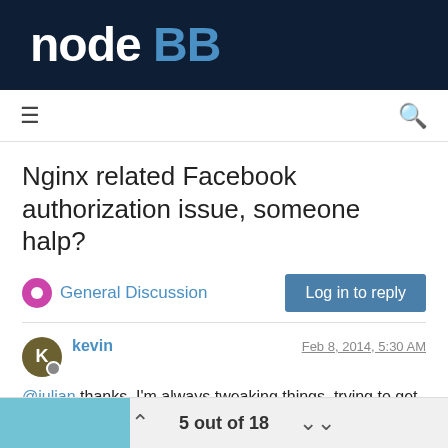[Figure (logo): NodeBB logo: white 'node' text and blue 'BB' text on dark navy background]
≡   🔍
Nginx related Facebook authorization issue, someone halp?
General Discussion   Log in to reply
kevin  Feb 8, 2014, 5:30 AM
@julian thanks. I'm always tweaking things, trying to get used to editing.
i'm pretty bad at trying to explain things to developers. So this is what i had.
5 out of 18